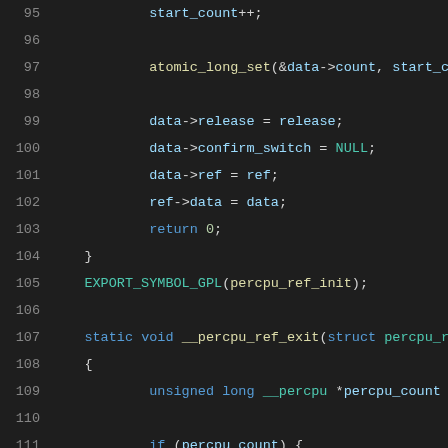[Figure (screenshot): Source code listing in dark theme IDE showing C kernel code lines 95-116, including atomic_long_set, data->release, confirm_switch, ref assignments, EXPORT_SYMBOL_GPL, and __percpu_ref_exit function definition with percpu_count handling.]